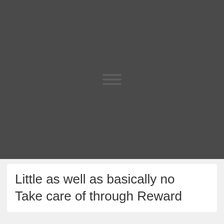[Figure (other): Dark gray background area with a faint hamburger menu icon (three horizontal lines) visible near center-bottom of the dark region.]
Little as well as basically no Take care of through Reward